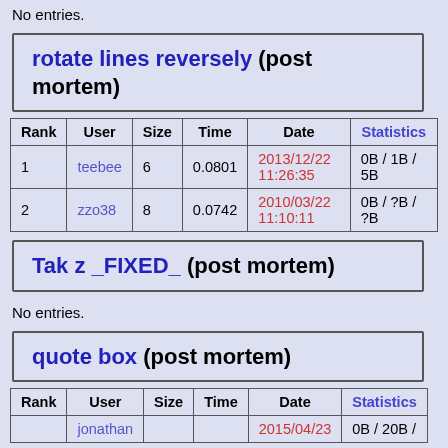No entries.
rotate lines reversely (post mortem)
| Rank | User | Size | Time | Date | Statistics |
| --- | --- | --- | --- | --- | --- |
| 1 | teebee | 6 | 0.0801 | 2013/12/22 11:26:35 | 0B / 1B / 5B |
| 2 | zzo38 | 8 | 0.0742 | 2010/03/22 11:10:11 | 0B / ?B / ?B |
Tak z _FIXED_ (post mortem)
No entries.
quote box (post mortem)
| Rank | User | Size | Time | Date | Statistics |
| --- | --- | --- | --- | --- | --- |
|  | jonathan |  |  | 2015/04/23 | 0B / 20B / |